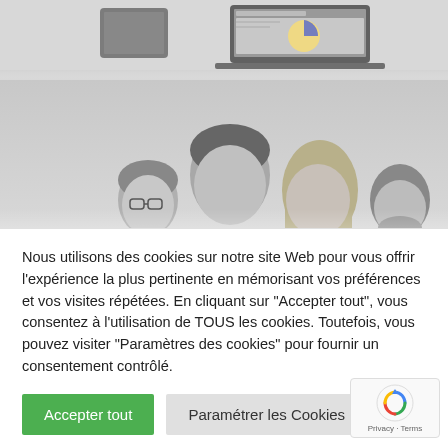[Figure (photo): Top section showing devices (tablet and laptop) displaying a financial dashboard, in grayscale]
[Figure (photo): Black and white photo of four business professionals (three men and one woman) smiling at camera]
Nous utilisons des cookies sur notre site Web pour vous offrir l'expérience la plus pertinente en mémorisant vos préférences et vos visites répétées. En cliquant sur "Accepter tout", vous consentez à l'utilisation de TOUS les cookies. Toutefois, vous pouvez visiter "Paramètres des cookies" pour fournir un consentement contrôlé.
Accepter tout
Paramétrer les Cookies